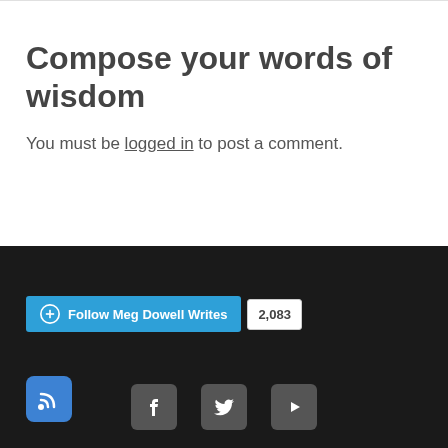Compose your words of wisdom
You must be logged in to post a comment.
[Figure (other): Follow Meg Dowell Writes button with follower count 2,083, RSS feed icon button, and social media icons for Facebook, Twitter, and YouTube on dark background]